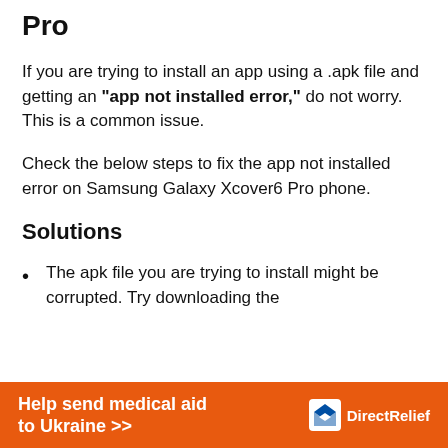Pro
If you are trying to install an app using a .apk file and getting an “app not installed error,” do not worry. This is a common issue.
Check the below steps to fix the app not installed error on Samsung Galaxy Xcover6 Pro phone.
Solutions
The apk file you are trying to install might be corrupted. Try downloading the
[Figure (infographic): Orange advertisement banner: 'Help send medical aid to Ukraine >>' with Direct Relief logo on the right]